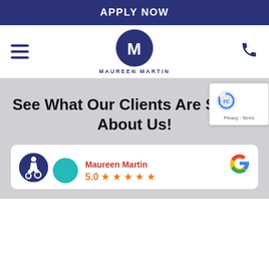APPLY NOW
[Figure (logo): Maureen Martin logo with circular M emblem and hamburger menu icon and phone icon navigation bar]
See What Our Clients Are Saying About Us!
[Figure (infographic): Google review widget showing Maureen Martin with 5.0 star rating and Google G logo, plus accessibility icon and teal avatar]
[Figure (other): reCAPTCHA widget overlay with Privacy and Terms links]